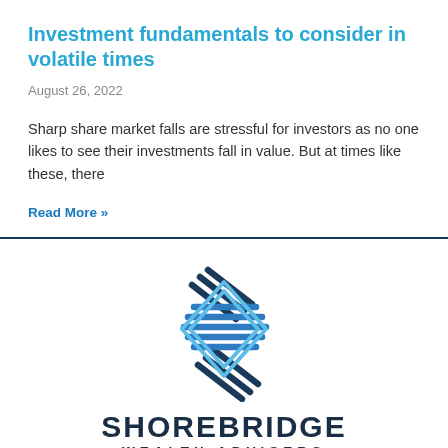Investment fundamentals to consider in volatile times
August 26, 2022
Sharp share market falls are stressful for investors as no one likes to see their investments fall in value. But at times like these, there
Read More »
[Figure (logo): Shorebridge Wealth Advisers logo — a geometric diamond/ribbon icon in blue shades above the company name]
Shorebridge Wealth Advisers is a boutique financial